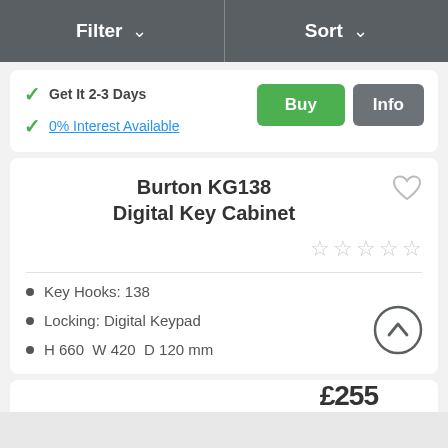Filter   Sort
Get It 2-3 Days
0% Interest Available
Buy   Info
Burton KG138 Digital Key Cabinet
Key Hooks: 138
Locking: Digital Keypad
H 660  W 420  D 120 mm
£255